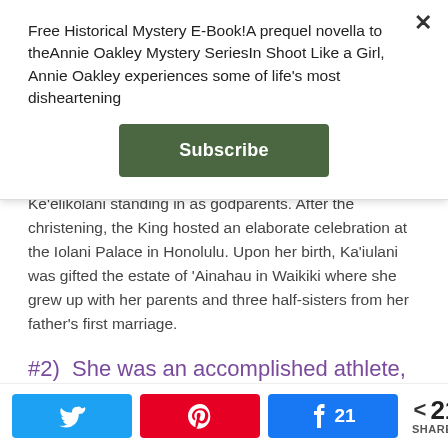Free Historical Mystery E-Book!A prequel novella to theAnnie Oakley Mystery SeriesIn Shoot Like a Girl, Annie Oakley experiences some of life’s most disheartening
Subscribe
Ke’elikolani standing in as godparents. After the christening, the King hosted an elaborate celebration at the Iolani Palace in Honolulu. Upon her birth, Kaʻiulani was gifted the estate of ʻAinahau in Waikiki where she grew up with her parents and three half-sisters from her father’s first marriage.
#2)  She was an accomplished athlete, musician and artist.
Growing up in the paradise of ʻAinahau (which means ‘cool